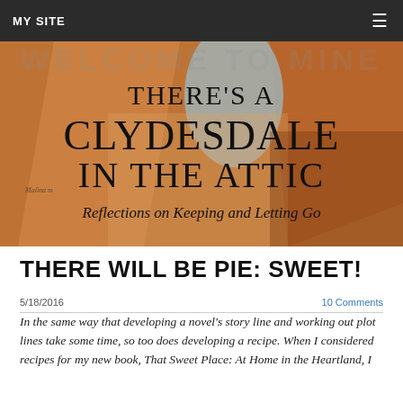MY SITE
[Figure (illustration): Book cover image for 'There's a Clydesdale in the Attic: Reflections on Keeping and Letting Go' with painted background in warm earthy tones]
THERE WILL BE PIE: SWEET!
5/18/2016
10 Comments
In the same way that developing a novel's story line and working out plot lines take some time, so too does developing a recipe. When I considered recipes for my new book, That Sweet Place: At Home in the Heartland, I